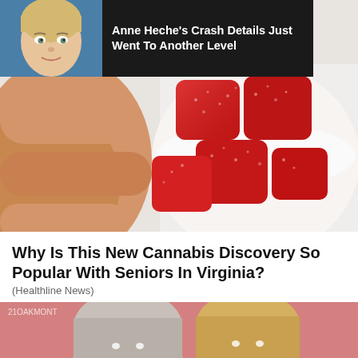[Figure (photo): Large photo of red gummy candies in a white cup being held by a hand, with an advertisement banner overlay at the top showing Anne Heche's photo and text 'Anne Heche's Crash Details Just Went To Another Level' on a dark background]
Why Is This New Cannabis Discovery So Popular With Seniors In Virginia?
(Healthline News)
[Figure (photo): Photo of two elderly people (seniors) with gray/white hair against a pink/salmon background, partially visible at bottom of page]